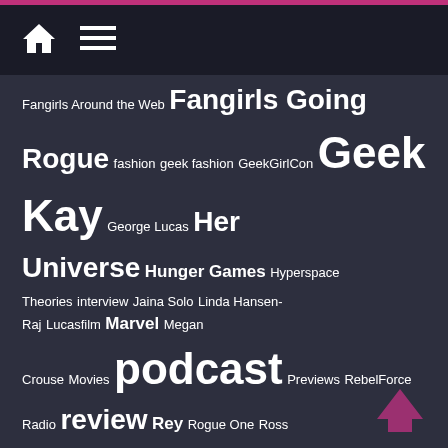[Figure (screenshot): Navigation bar with home icon and hamburger menu icon on dark background]
Fangirls Around the Web Fangirls Going Rogue fashion geek fashion GeekGirlCon Geek Kay George Lucas Her Universe Hunger Games Hyperspace Theories interview Jaina Solo Linda Hansen-Raj Lucasfilm Marvel Megan Crouse Movies podcast Previews RebelForce Radio review Rey Rogue One Ross Brown Star Wars Star Wars Rebels Storytelling Teresa Delgado The Clone Wars The Force Awakens The Last Jedi Tricia Barr Wonder Woman writing